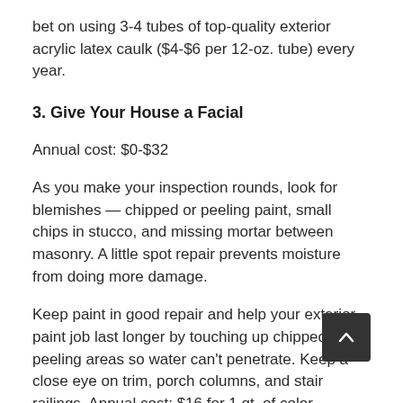bet on using 3-4 tubes of top-quality exterior acrylic latex caulk ($4-$6 per 12-oz. tube) every year.
3. Give Your House a Facial
Annual cost: $0-$32
As you make your inspection rounds, look for blemishes — chipped or peeling paint, small chips in stucco, and missing mortar between masonry. A little spot repair prevents moisture from doing more damage.
Keep paint in good repair and help your exterior paint job last longer by touching up chipped or peeling areas so water can't penetrate. Keep a close eye on trim, porch columns, and stair railings. Annual cost: $16 for 1 qt. of color-matched exterior latex paint.